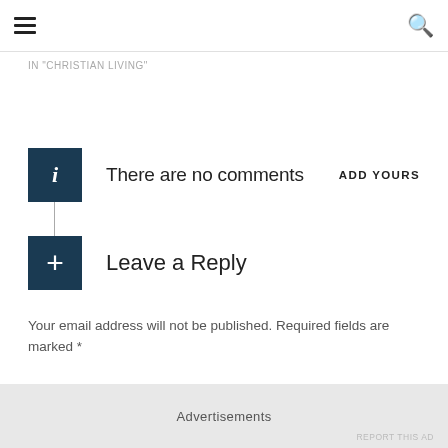IN "CHRISTIAN LIVING"
There are no comments  ADD YOURS
Leave a Reply
Your email address will not be published. Required fields are marked *
Advertisements